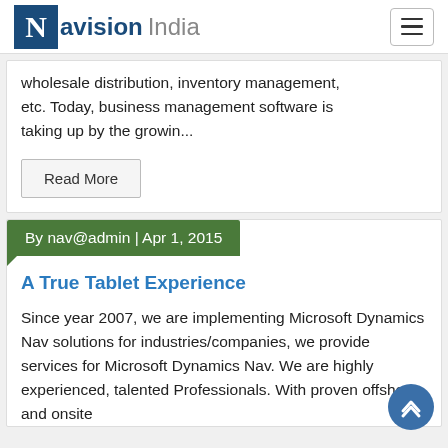Navision India
wholesale distribution, inventory management, etc. Today, business management software is taking up by the growin...
Read More
By nav@admin | Apr 1, 2015
A True Tablet Experience
Since year 2007, we are implementing Microsoft Dynamics Nav solutions for industries/companies, we provide services for Microsoft Dynamics Nav. We are highly experienced, talented Professionals. With proven offshore and onsite